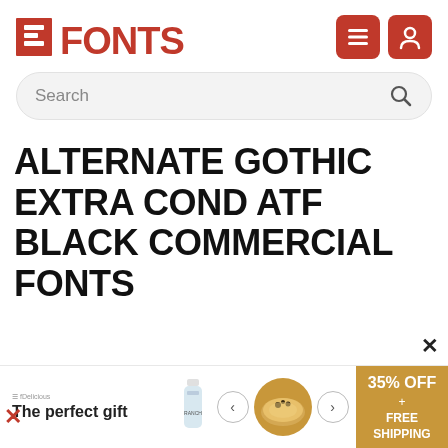[Figure (logo): FFONTS logo in dark red/crimson with a bold square prefix mark, top left]
[Figure (other): Two red rounded square icon buttons (hamburger menu and user/person icon) in top right]
[Figure (other): Search bar with rounded pill shape, light gray background, Search placeholder text and magnifying glass icon]
ALTERNATE GOTHIC EXTRA COND ATF BLACK COMMERCIAL FONTS
[Figure (other): Advertisement banner at bottom: 'The perfect gift' with food images, arrows, and '35% OFF + FREE SHIPPING' gold box. Close X button visible.]